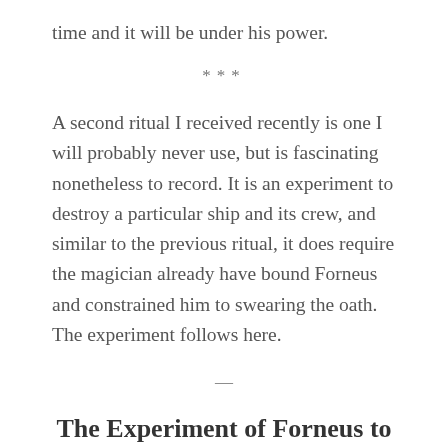time and it will be under his power.
***
A second ritual I received recently is one I will probably never use, but is fascinating nonetheless to record. It is an experiment to destroy a particular ship and its crew, and similar to the previous ritual, it does require the magician already have bound Forneus and constrained him to swearing the oath. The experiment follows here.
—
The Experiment of Forneus to Break Ships Apart